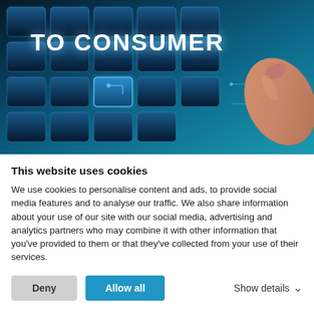[Figure (photo): A hand pressing a glowing blue keyboard key with 'TO CONSUMER' text visible, tech/circuit board styling with teal and blue colors]
ESW announces alliance with UPS to offer brands faster DTC access in
This website uses cookies
We use cookies to personalise content and ads, to provide social media features and to analyse our traffic. We also share information about your use of our site with our social media, advertising and analytics partners who may combine it with other information that you've provided to them or that they've collected from your use of their services.
Deny | Allow all | Show details